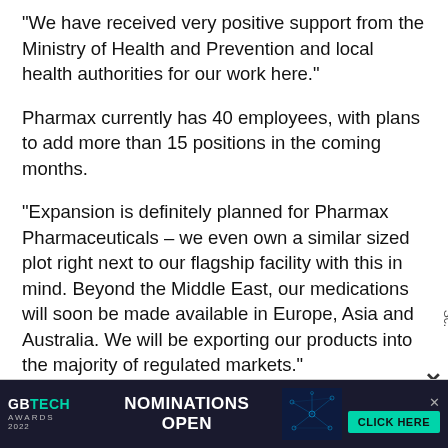“We have received very positive support from the Ministry of Health and Prevention and local health authorities for our work here.”
Pharmax currently has 40 employees, with plans to add more than 15 positions in the coming months.
“Expansion is definitely planned for Pharmax Pharmaceuticals – we even own a similar sized plot right next to our flagship facility with this in mind. Beyond the Middle East, our medications will soon be made available in Europe, Asia and Australia. We will be exporting our products into the majority of regulated markets.”
[Figure (infographic): GBTech Awards 2022 advertisement banner with dark blue background, logo, 'NOMINATIONS OPEN' text, network graphic, and 'CLICK HERE' green CTA button]